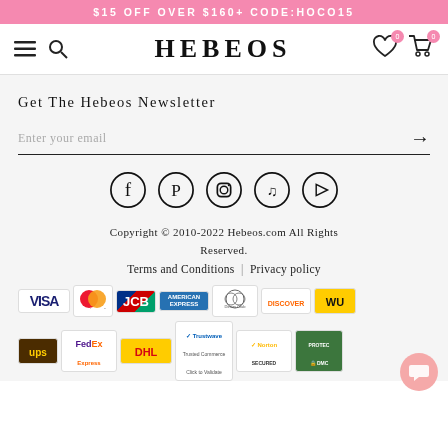$15 OFF OVER $160+ CODE:HOCO15
[Figure (screenshot): Hebeos website navigation bar with hamburger menu, search icon, HEBEOS logo, wishlist and cart icons with 0 badges]
Get The Hebeos Newsletter
Enter your email
[Figure (infographic): Social media icons in circles: Facebook, Pinterest, Instagram, TikTok, YouTube]
Copyright © 2010-2022 Hebeos.com All Rights Reserved.
Terms and Conditions  |  Privacy policy
[Figure (infographic): Payment and security logos: VISA, Mastercard, JCB, American Express, Diners Club, Discover, Western Union, UPS, FedEx Express, DHL, Trustwave, Norton Secured, IDMCA]